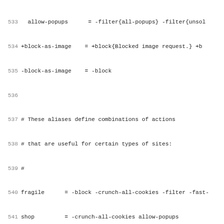533  allow-popups     = -filter{all-popups} -filter{unsol...
534 +block-as-image   = +block{Blocked image request.} +b...
535 -block-as-image   = -block
536 
537 # These aliases define combinations of actions
538 # that are useful for certain types of sites:
539 #
540 fragile     = -block -crunch-all-cookies -filter -fast-...
541 shop        = -crunch-all-cookies allow-popups
542 
543 # Your favourite blend of filters:
544 #
545 myfilters   = +filter{html-annoyances} +filter{js-annoy...
546              +filter{webbugs} +filter{banners-by-size]...
547 
548 # Allow ads for selected useful free sites:
549 #
550 allow-ads   = -block -filter{banners-by-size} -filter{b...
551 
552 ################
553 #
554 # Cautious settings -- safe for all sites, but offer li...
555 #
556 { \
557 +change-x-forwarded-for{block} \
558 +client-header-tagger{css-requests} \
559 +client-header-tagger{image-requests} \
560 +client-header-tagger{range-requests} \
561 +hide-from-header{block} \
562 +set-image-blocker{pattern} \
563 }
564 standard.Cautious